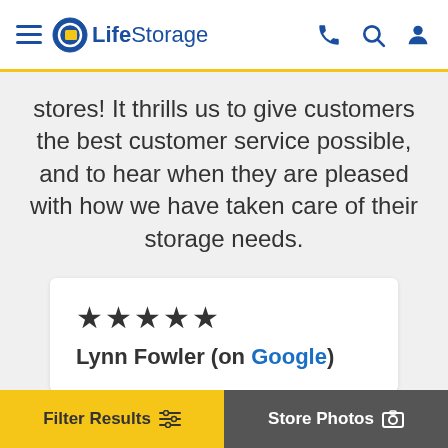LifeStorage
stores! It thrills us to give customers the best customer service possible, and to hear when they are pleased with how we have taken care of their storage needs.
[Figure (screenshot): Review card with 5 stars and reviewer name Lynn Fowler (on Google)]
Filter Results | Store Photos